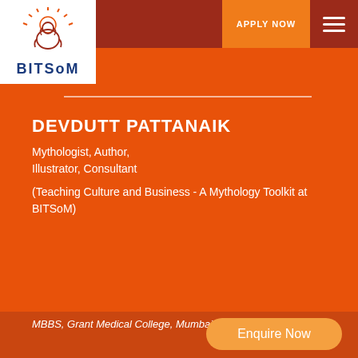[Figure (logo): BITSOM logo with lion/sun emblem in orange and dark red, text BITSOM in navy blue]
APPLY NOW
DEVDUTT PATTANAIK
Mythologist, Author,
Illustrator, Consultant
(Teaching Culture and Business - A Mythology Toolkit at BITSoM)
MBBS, Grant Medical College, Mumbai
Enquire Now